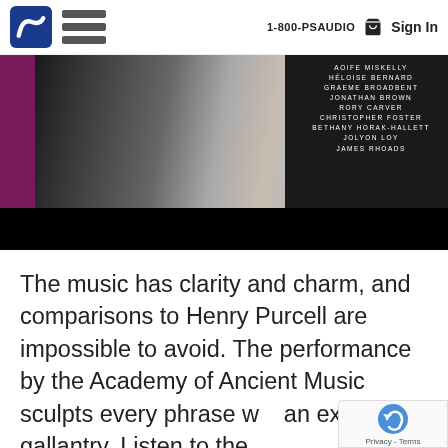1-800-PSAUDIO  Sign In
[Figure (photo): Album cover image with dark background, purple strip on left, figure silhouette, and list of performer names in white uppercase text: AOIFE MISKELLY, HELOISE BERNARD, GRAEME BROADBENT, JONATHAN BROWN, RORY CARVER, CHRISTOPHER FOSTER, BETHANY HORAK-HALLETT, JOLYON LOY, JAMES RHOADS]
The music has clarity and charm, and comparisons to Henry Purcell are impossible to avoid. The performance by the Academy of Ancient Music sculpts every phrase with an exquisite gallantry. Listen to the delicate introduction and ritornello of "Turn...